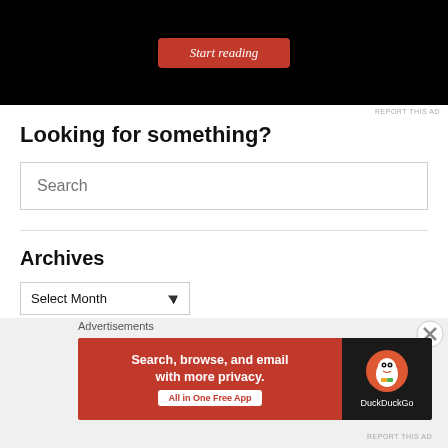[Figure (screenshot): Black advertisement banner with red 'Start reading' button]
REPORT THIS AD
Looking for something?
[Figure (screenshot): Search text input box with placeholder text 'Search']
Archives
[Figure (screenshot): Select Month dropdown]
Advertisements
[Figure (screenshot): DuckDuckGo advertisement banner: Search, browse, and email with more privacy. All in One Free App]
REPORT THIS AD